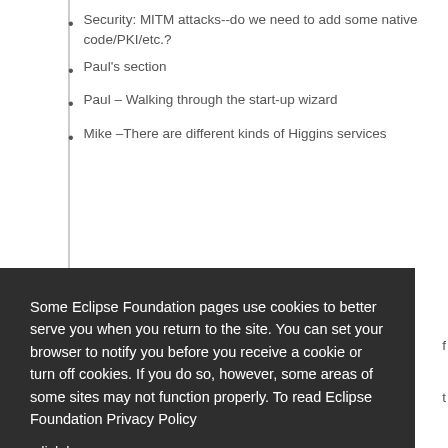Security: MITM attacks--do we need to add some native code/PKI/etc.?
Paul's section
Paul – Walking through the start-up wizard
Mike –There are different kinds of Higgins services
Some Eclipse Foundation pages use cookies to better serve you when you return to the site. You can set your browser to notify you before you receive a cookie or turn off cookies. If you do so, however, some areas of some sites may not function properly. To read Eclipse Foundation Privacy Policy click here.
Decline
Allow cookies
Jim - Another default deployment, a locally